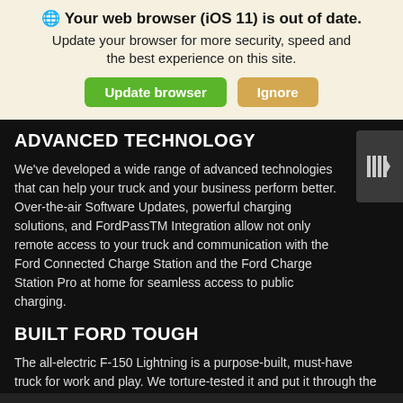🌐 Your web browser (iOS 11) is out of date. Update your browser for more security, speed and the best experience on this site.
Update browser | Ignore
ADVANCED TECHNOLOGY
We've developed a wide range of advanced technologies that can help your truck and your business perform better. Over-the-air Software Updates, powerful charging solutions, and FordPassTM Integration allow not only remote access to your truck and communication with the Ford Connected Charge Station and the Ford Charge Station Pro at home for seamless access to public charging.
BUILT FORD TOUGH
The all-electric F-150 Lightning is a purpose-built, must-have truck for work and play. We torture-tested it and put it through the same
Search | Saved | Share | Contact